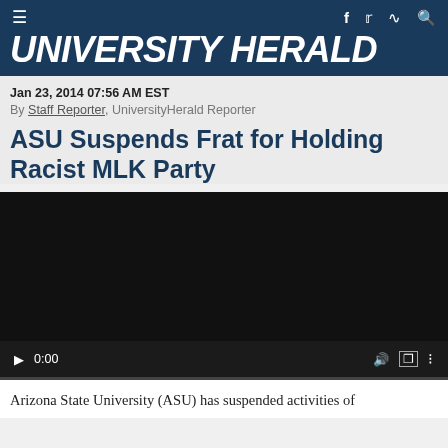UNIVERSITY HERALD
Jan 23, 2014 07:56 AM EST
By Staff Reporter, UniversityHerald Reporter
ASU Suspends Frat for Holding Racist MLK Party
[Figure (other): Embedded video player with black background, play button, time display 0:00, volume, fullscreen and more controls at bottom]
Arizona State University (ASU) has suspended activities of